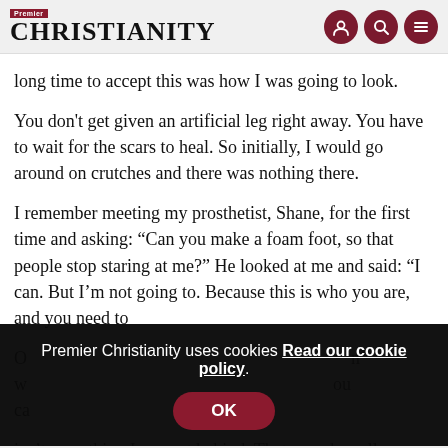Premier Christianity
long time to accept this was how I was going to look.
You don't get given an artificial leg right away. You have to wait for the scars to heal. So initially, I would go around on crutches and there was nothing there.
I remember meeting my prosthetist, Shane, for the first time and asking: “Can you make a foam foot, so that people stop staring at me?” He looked at me and said: “I can. But I’m not going to. Because this is who you are, and you need to… ne…
O… w… ou ca… isn’t something I can get behind. That sounds really harsh, but it’s reality. We all live in a context, so it’s important to
Premier Christianity uses cookies Read our cookie policy.
OK